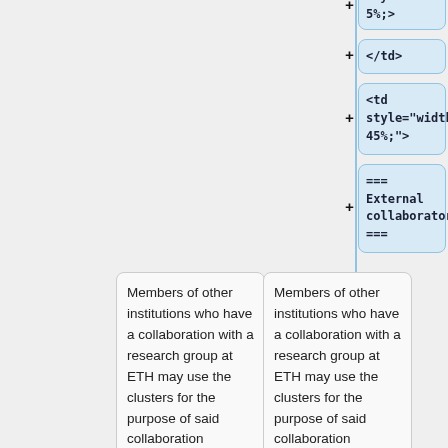<td style="width: 5%;>
</td>
<td style="width: 45%;">
=== External collaborators ===
Members of other institutions who have a collaboration with a research group at ETH may use the clusters for the purpose of said collaboration
Members of other institutions who have a collaboration with a research group at ETH may use the clusters for the purpose of said collaboration